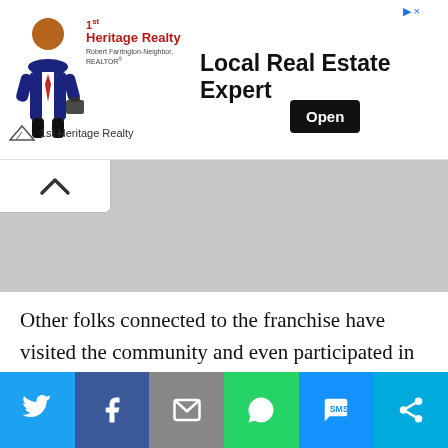[Figure (other): Advertisement banner for 1st Heritage Realty showing a cartoon realtor figure, logo text reading '1st Heritage Realty', tagline 'Local Real Estate Expert' and an 'Open' button. Has ad icon and close X in top right.]
[Figure (other): Collapsed/minimized tab with upward chevron arrow on gray background area]
Other folks connected to the franchise have visited the community and even participated in Trekfest, which draws thousands of visitors to the town of a little more than 1,000 residents.
[Figure (other): Social sharing bar with six buttons: Twitter (blue), Facebook (dark blue), Email (gray), WhatsApp (green), SMS (blue), More/share (light blue) — each showing a white icon]